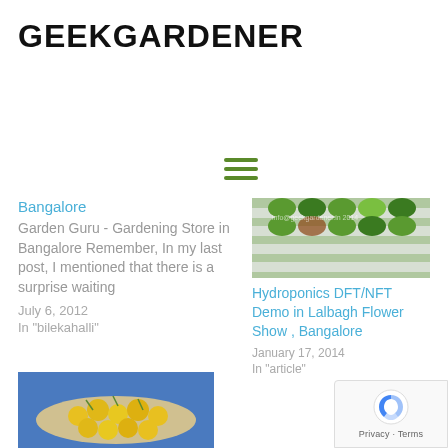GEEKGARDENER
[Figure (other): Hamburger menu icon with three green horizontal lines]
Bangalore
Garden Guru - Gardening Store in Bangalore Remember, In my last post, I mentioned that there is a surprise waiting
July 6, 2012
In "bilekahalli"
[Figure (photo): Hydroponic lettuce growing in channels at Lalbagh Flower Show]
Hydroponics DFT/NFT Demo in Lalbagh Flower Show , Bangalore
January 17, 2014
In "article"
[Figure (photo): Yellow cherry tomatoes on a plate with green herbs]